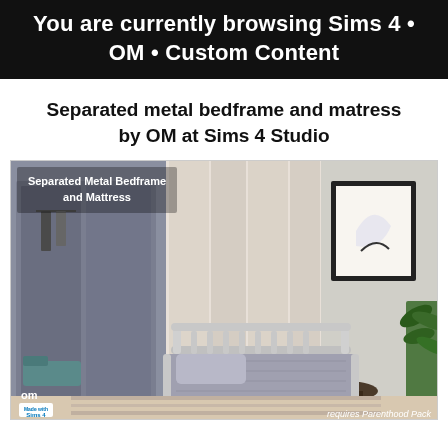You are currently browsing Sims 4 · OM · Custom Content
Separated metal bedframe and matress by OM at Sims 4 Studio
[Figure (screenshot): In-game screenshot of a Sims 4 bedroom featuring a separated metal bedframe and mattress, with overlay text 'Separated Metal Bedframe and Mattress', OM logo and Sims 4 Studio badge in bottom-left, and 'requires Parenthood Pack' text in bottom-right.]